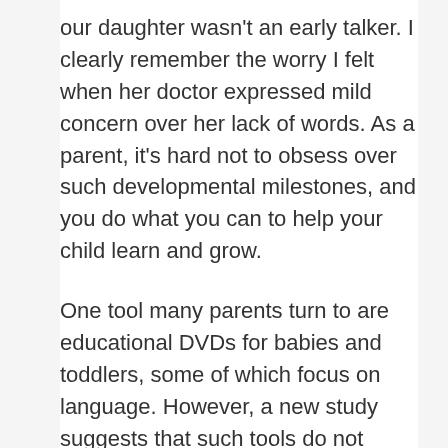our daughter wasn't an early talker. I clearly remember the worry I felt when her doctor expressed mild concern over her lack of words. As a parent, it's hard not to obsess over such developmental milestones, and you do what you can to help your child learn and grow.
One tool many parents turn to are educational DVDs for babies and toddlers, some of which focus on language. However, a new study suggests that such tools do not actually help young